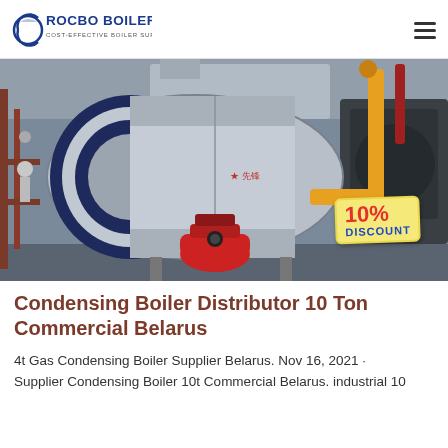ROCBO BOILER — COST-EFFECTIVE BOILER SUPPLIER
[Figure (photo): Industrial gas condensing boiler installed in a facility. Large cylindrical boiler body in dark blue and silver, with a red burner at the front, yellow gas pipes on the right side, and a 10% DISCOUNT tag overlaid on the image.]
Condensing Boiler Distributor 10 Ton Commercial Belarus
4t Gas Condensing Boiler Supplier Belarus. Nov 16, 2021 · Supplier Condensing Boiler 10t Commercial Belarus. industrial 10